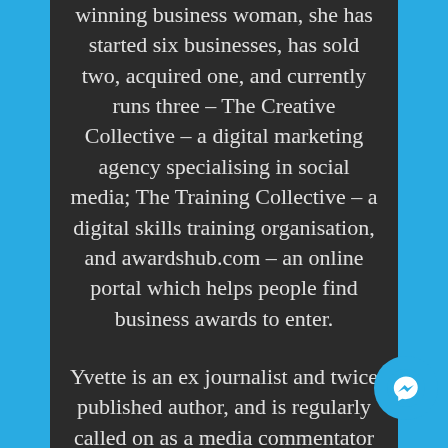winning business woman, she has started six businesses, has sold two, acquired one, and currently runs three – The Creative Collective – a digital marketing agency specialising in social media; The Training Collective – a digital skills training organisation, and awardshub.com – an online portal which helps people find business awards to enter.
Yvette is an ex journalist and twice published author, and is regularly called on as a media commentator and keynote speaker, facilitator